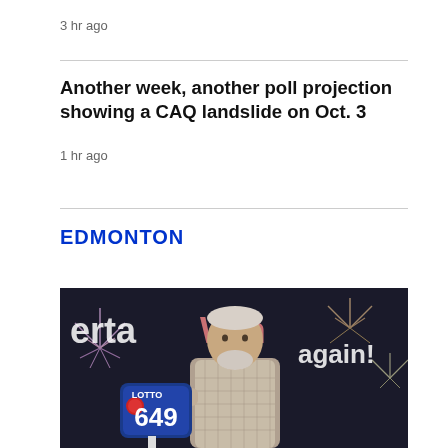3 hr ago
Another week, another poll projection showing a CAQ landslide on Oct. 3
1 hr ago
EDMONTON
[Figure (photo): Man holding a Lotto 6/49 sign in front of a fireworks backdrop with text reading 'erta Win again!']